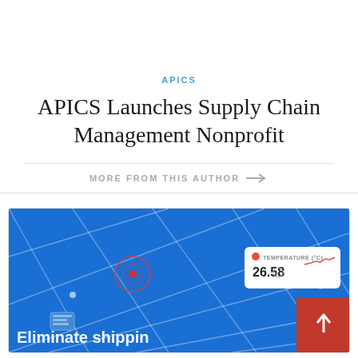APICS
APICS Launches Supply Chain Management Nonprofit
MORE FROM THIS AUTHOR →
[Figure (screenshot): A blue logistics/supply chain map dashboard showing temperature monitoring (26.58°C) with a red location pin and IoT sensor overlay. Bottom text reads 'Eliminate shipping...' A red scroll-to-top button with an upward arrow appears in the bottom-right corner.]